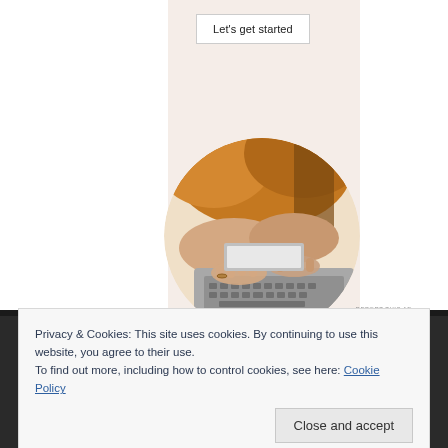[Figure (screenshot): A button with text 'Let's get started' on a beige background, part of an advertisement]
Let's get started
[Figure (photo): Circular cropped photo of a person wearing a mustard/brown sweater typing on a laptop keyboard, viewed from above]
REPORT THIS AD
Privacy & Cookies: This site uses cookies. By continuing to use this website, you agree to their use.
To find out more, including how to control cookies, see here: Cookie Policy
Close and accept